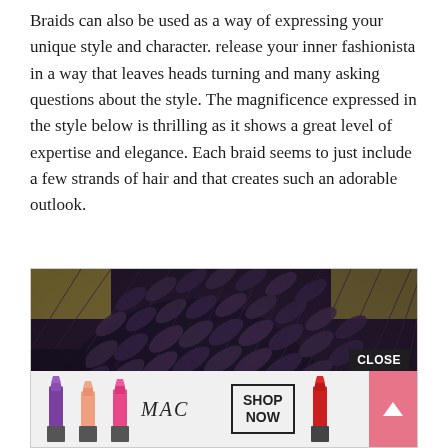Braids can also be used as a way of expressing your unique style and character. release your inner fashionista in a way that leaves heads turning and many asking questions about the style. The magnificence expressed in the style below is thrilling as it shows a great level of expertise and elegance. Each braid seems to just include a few strands of hair and that creates such an adorable outlook.
[Figure (photo): Close-up photo of very fine micro-braids on a person's head, showing detailed texture of numerous thin dark braids arranged neatly. An advertisement overlay at the bottom shows MAC cosmetics lipsticks with a 'SHOP NOW' button and a 'CLOSE' button in the corner.]